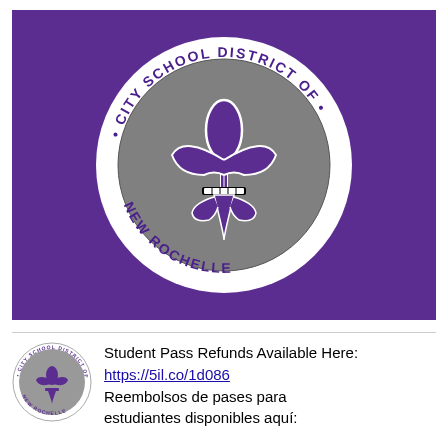[Figure (logo): City School District of New Rochelle seal/logo centered on a purple background. The seal shows a fleur-de-lis in purple, white and black on a gray circle, with text 'CITY SCHOOL DISTRICT OF' on top arc and 'NEW ROCHELLE' on bottom arc, white ring border with bullet points.]
[Figure (logo): Small City School District of New Rochelle circular seal logo in grayscale.]
Student Pass Refunds Available Here: https://5il.co/1d086 Reembolsos de pases para estudiantes disponibles aquí: